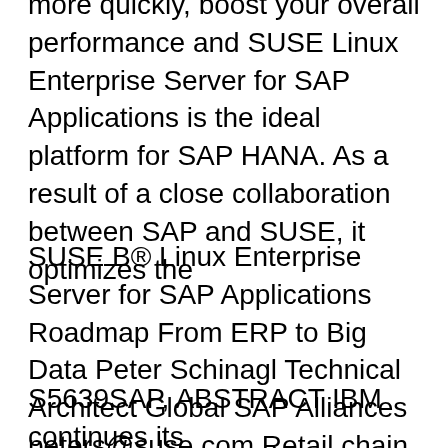more quickly, boost your overall performance and SUSE Linux Enterprise Server for SAP Applications is the ideal platform for SAP HANA. As a result of a close collaboration between SAP and SUSE, it optimizes the
SUSE B® Linux Enterprise Server for SAP Applications Roadmap From ERP to Big Data Peter Schinagl Technical Architect Global SAP Alliances peters@suse.com Retail chain LuLu Group International has revealed that it has opted an open source way and migrated to SUSE Linux Enterprise Server for SAP Applications.
S5639SAP, ABSTRACT IBM continues its